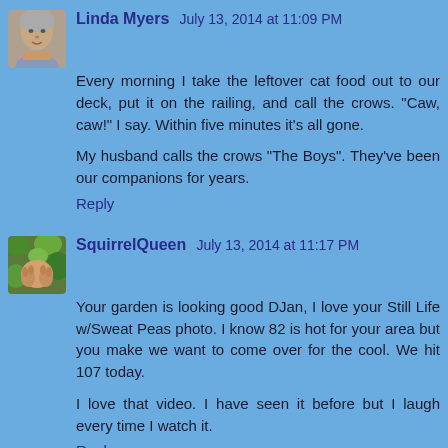[Figure (photo): Avatar photo of Linda Myers - older woman with short gray hair]
Linda Myers  July 13, 2014 at 11:09 PM
Every morning I take the leftover cat food out to our deck, put it on the railing, and call the crows. "Caw, caw!" I say. Within five minutes it's all gone.

My husband calls the crows "The Boys". They've been our companions for years.
Reply
[Figure (photo): Avatar photo of SquirrelQueen - outdoor nature themed image]
SquirrelQueen  July 13, 2014 at 11:17 PM
Your garden is looking good DJan, I love your Still Life w/Sweat Peas photo. I know 82 is hot for your area but you make we want to come over for the cool. We hit 107 today.

I love that video. I have seen it before but I laugh every time I watch it.
Reply
[Figure (photo): Partial avatar photo of Betty Baker - partially visible at bottom]
Betty Baker  July 14, 2014 at 3:40 AM